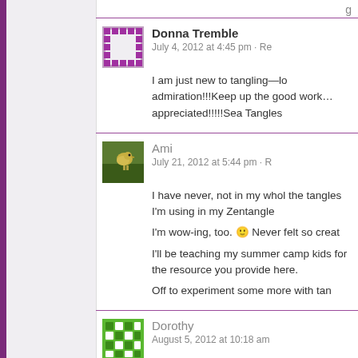Donna Tremble
July 4, 2012 at 4:45 pm · Re
I am just new to tangling—lo admiration!!!Keep up the good work… appreciated!!!!!Sea Tangles
Ami
July 21, 2012 at 5:44 pm · R
I have never, not in my whol the tangles I'm using in my Zentangle

I'm wow-ing, too. 🙂 Never felt so creat

I'll be teaching my summer camp kids for the resource you provide here.

Off to experiment some more with tan
Dorothy
August 5, 2012 at 10:18 am
Thank you so much for all yo the CZT. I do a lot of volunteer work w the seminar was closer to me on the w permission to use?